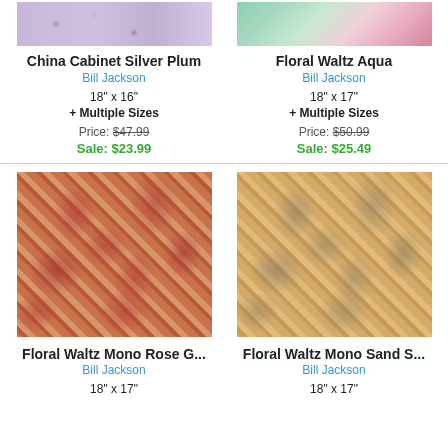[Figure (photo): Cropped top portion of China Cabinet Silver Plum fabric pattern - floral on light background]
[Figure (photo): Cropped top portion of Floral Waltz Aqua fabric pattern - floral on aqua/teal background]
China Cabinet Silver Plum
Bill Jackson
18" x 16"
+ Multiple Sizes
Price: $47.99
Sale: $23.99
Floral Waltz Aqua
Bill Jackson
18" x 17"
+ Multiple Sizes
Price: $50.99
Sale: $25.49
[Figure (photo): Floral Waltz Mono Rose G... fabric - golden/tan floral pattern on rose/pink-red background]
[Figure (photo): Floral Waltz Mono Sand S... fabric - golden/tan floral pattern on sand/gray background]
Floral Waltz Mono Rose G...
Bill Jackson
18" x 17"
Floral Waltz Mono Sand S...
Bill Jackson
18" x 17"